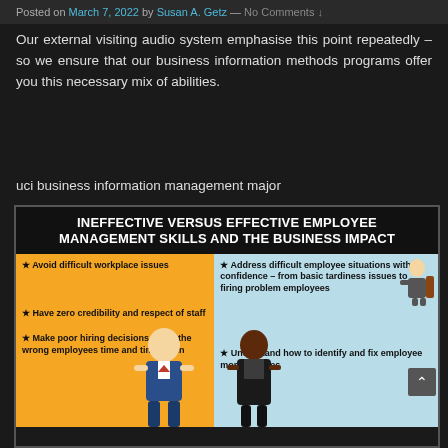Posted on March 7, 2022 by Susan A. Getz — No Comments ↓
Our external visiting audio system emphasise this point repeatedly – so we ensure that our business information methods programs offer you this necessary mix of abilities.
uci business information management major
[Figure (infographic): Infographic titled 'INEFFECTIVE VERSUS EFFECTIVE EMPLOYEE MANAGEMENT SKILLS AND THE BUSINESS IMPACT'. Left orange panel (ineffective): Avoid difficult workplace issues; Have zero credibility and respect of staff; Make poor hiring decisions – hire the wrong employees time and time again. Right blue panel (effective): Address difficult employee situations with confidence – from basic tardiness issues to firing problem employees; Understand how to identify and fix employee morale issues. Features cartoon illustrations of employees and managers.]